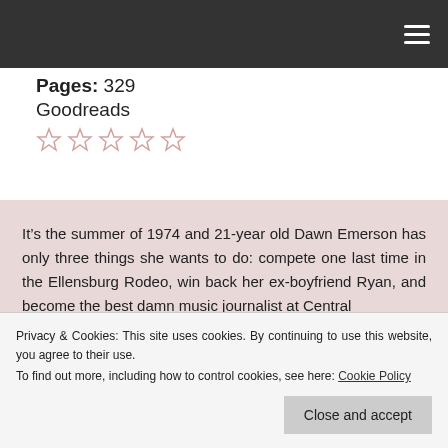Pages: 329
Goodreads
[Figure (other): Five empty star rating icons in a row]
It’s the summer of 1974 and 21-year old Dawn Emerson has only three things she wants to do: compete one last time in the Ellensburg Rodeo, win back her ex-boyfriend Ryan, and become the best damn music journalist at Central
Privacy & Cookies: This site uses cookies. By continuing to use this website, you agree to their use.
To find out more, including how to control cookies, see here: Cookie Policy
groups, the up-and-coming metal band,